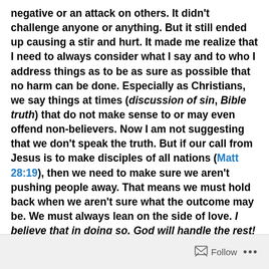negative or an attack on others. It didn't challenge anyone or anything. But it still ended up causing a stir and hurt. It made me realize that I need to always consider what I say and to who I address things as to be as sure as possible that no harm can be done. Especially as Christians, we say things at times (discussion of sin, Bible truth) that do not make sense to or may even offend non-believers. Now I am not suggesting that we don't speak the truth. But if our call from Jesus is to make disciples of all nations (Matt 28:19), then we need to make sure we aren't pushing people away. That means we must hold back when we aren't sure what the outcome may be. We must always lean on the side of love. I believe that in doing so, God will handle the rest!
Follow ...